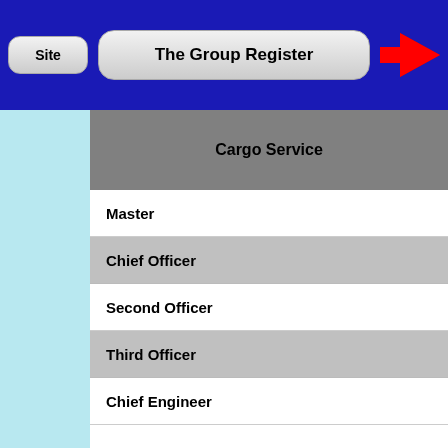Site | The Group Register
Cargo Service
Master
Chief Officer
Second Officer
Third Officer
Chief Engineer
Second Engineer
Third Engineer
Fourth Engineer
Chief Steward